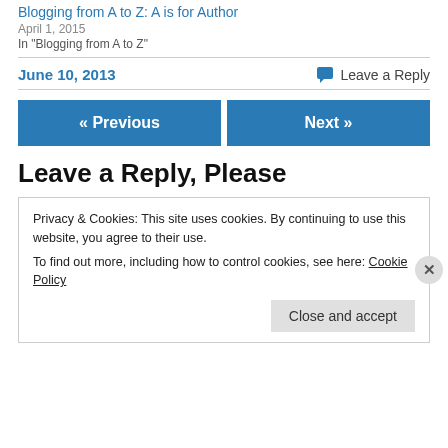Blogging from A to Z: A is for Author
April 1, 2015
In "Blogging from A to Z"
June 10, 2013
💬 Leave a Reply
« Previous
Next »
Leave a Reply, Please
Privacy & Cookies: This site uses cookies. By continuing to use this website, you agree to their use.
To find out more, including how to control cookies, see here: Cookie Policy
Close and accept